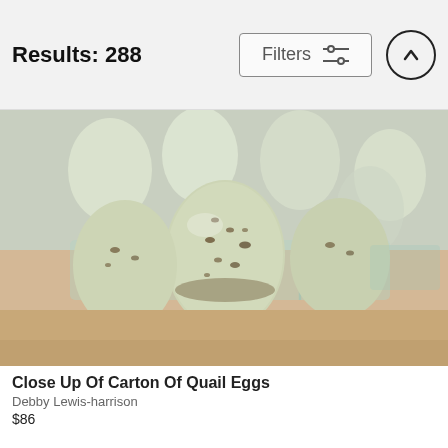Results: 288
Filters
[Figure (photo): Close up photo of quail eggs in a clear plastic carton on a wooden surface]
Close Up Of Carton Of Quail Eggs
Debby Lewis-harrison
$86
[Figure (photo): Partially visible second image card, content not visible]